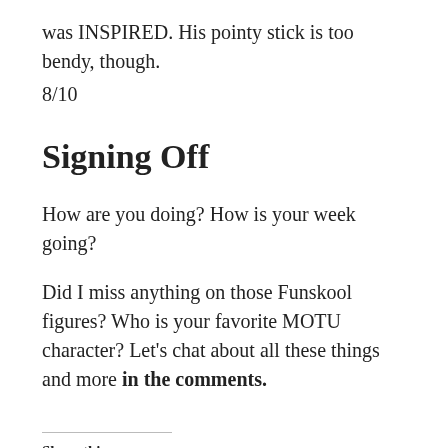was INSPIRED. His pointy stick is too bendy, though.
8/10
Signing Off
How are you doing? How is your week going?
Did I miss anything on those Funskool figures? Who is your favorite MOTU character? Let's chat about all these things and more in the comments.
Share this:
Twitter  Facebook